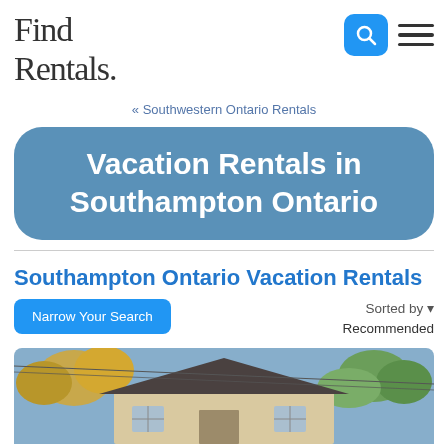Find Rentals
« Southwestern Ontario Rentals
Vacation Rentals in Southampton Ontario
Southampton Ontario Vacation Rentals
Narrow Your Search | Sorted by ▾ Recommended
[Figure (photo): Photograph of a small house with a dark roof surrounded by autumn trees]